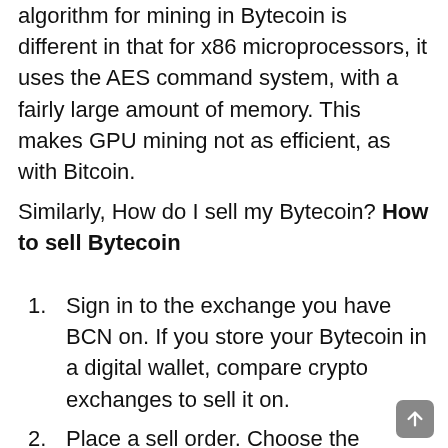algorithm for mining in Bytecoin is different in that for x86 microprocessors, it uses the AES command system, with a fairly large amount of memory. This makes GPU mining not as efficient, as with Bitcoin.
Similarly, How do I sell my Bytecoin? How to sell Bytecoin
Sign in to the exchange you have BCN on. If you store your Bytecoin in a digital wallet, compare crypto exchanges to sell it on.
Place a sell order. Choose the amount of BCN you'd like to sell.
Complete your transaction. Confirm the sell price and fees and close your sale of Bytecoin.